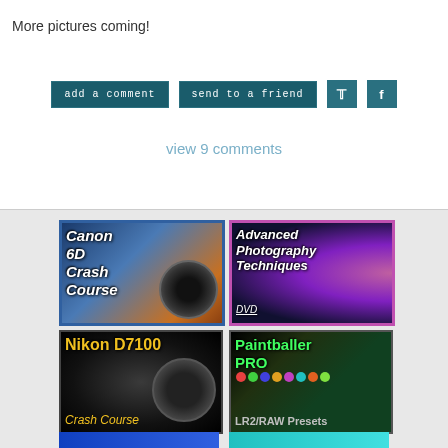More pictures coming!
add a comment
send to a friend
view 9 comments
[Figure (photo): Canon 6D Crash Course thumbnail - dark blue/orange camera image with white italic text overlay]
[Figure (photo): Advanced Photography Techniques DVD thumbnail - purple/dark background with woman's face and white italic text]
[Figure (photo): Nikon D7100 Crash Course thumbnail - black camera close-up with yellow bold text overlay]
[Figure (photo): Paintballer PRO LR2/RAW Presets thumbnail - dark background with colorful paintballs and green text overlay]